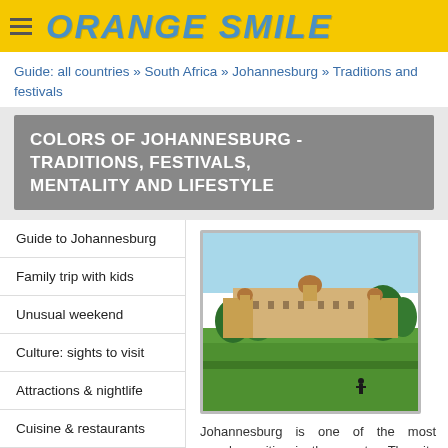ORANGE SMILE
Guide: all countries » South Africa » Johannesburg » Traditions and festivals
COLORS OF JOHANNESBURG - TRADITIONS, FESTIVALS, MENTALITY AND LIFESTYLE
Guide to Johannesburg
Family trip with kids
Unusual weekend
Culture: sights to visit
Attractions & nightlife
Cuisine & restaurants
Traditions & lifestyle
Shopping in Johannesburg
[Figure (photo): Aerial view of a large sandstone building complex (Union Buildings, Pretoria) with green lawns and trees in the foreground, under a clear blue sky.]
Johannesburg is one of the most populous cities in the country. The city has become home to